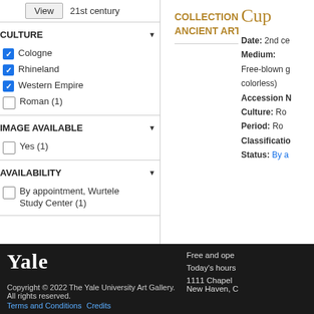21st century
CULTURE
Cologne (checked)
Rhineland (checked)
Western Empire (checked)
Roman (1) (unchecked)
IMAGE AVAILABLE
Yes (1) (unchecked)
AVAILABILITY
By appointment, Wurtele Study Center (1) (unchecked)
COLLECTION OBJECTS ANCIENT ART
Cup
Date: 2nd ce
Medium: Free-blown g colorless)
Accession N
Culture: Ro
Period: Ro
Classificatio
Status: By a
Yale
Copyright © 2022 The Yale University Art Gallery. All rights reserved.
Terms and Conditions  Credits
Free and ope
Today's hours
1111 Chapel
New Haven, C